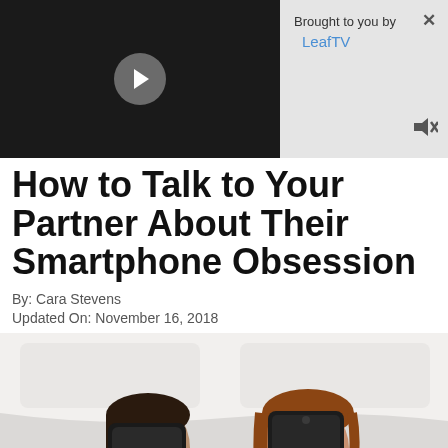[Figure (screenshot): Video thumbnail showing a dark/black video player with a circular play button in the center, alongside a 'Brought to you by LeafTV' branded panel with close (X) and mute icons on a light gray background.]
How to Talk to Your Partner About Their Smartphone Obsession
By: Cara Stevens
Updated On: November 16, 2018
[Figure (photo): Photo of a couple lying in bed under white sheets, each holding a smartphone in front of their faces. The woman on the right has red nails and auburn hair. Both are looking at their respective phone screens.]